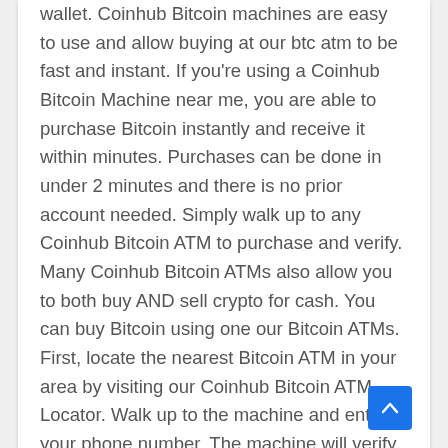wallet. Coinhub Bitcoin machines are easy to use and allow buying at our btc atm to be fast and instant. If you're using a Coinhub Bitcoin Machine near me, you are able to purchase Bitcoin instantly and receive it within minutes. Purchases can be done in under 2 minutes and there is no prior account needed. Simply walk up to any Coinhub Bitcoin ATM to purchase and verify. Many Coinhub Bitcoin ATMs also allow you to both buy AND sell crypto for cash. You can buy Bitcoin using one our Bitcoin ATMs. First, locate the nearest Bitcoin ATM in your area by visiting our Coinhub Bitcoin ATM Locator. Walk up to the machine and enter your phone number. The machine will verify your phone using a code and scan the bitcoin wallet. Enter each bill one at a time to determine the amount you wish to purchase. After that, confirm the purchase by entering the bitcoin atm. Bitcoin is then instantly sent to your wallet. The daily buying limit is $25,000. We